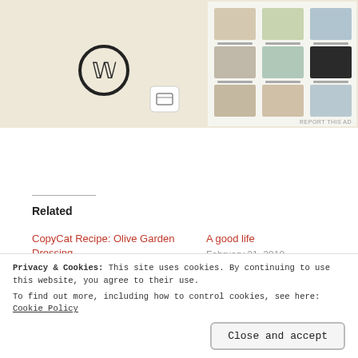[Figure (screenshot): Top portion showing a WordPress blog screenshot with food recipe images/thumbnails on a light beige background, with WordPress logo and an icon visible]
REPORT THIS AD
Related
CopyCat Recipe: Olive Garden Dressing
February 20, 2011
In "Recipe"
A good life
February 21, 2018
In "Recipe"
Recipe: Easy Tamale Pie
August 6, 2012
In "Recipe"
Privacy & Cookies: This site uses cookies. By continuing to use this website, you agree to their use.
To find out more, including how to control cookies, see here: Cookie Policy
Close and accept